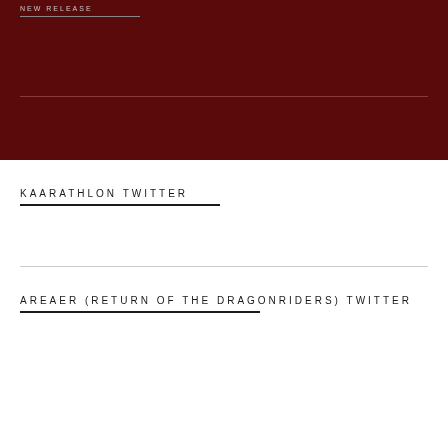NEW RELEASE
KAARATHLON TWITTER
AREAER (RETURN OF THE DRAGONRIDERS) TWITTER